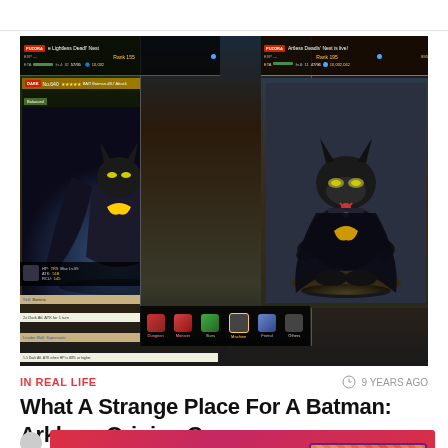[Figure (screenshot): Game screenshots from Puzzle & Dragons showing Batman: Arkham Origins crossover characters. Three panels show character stats screens with a Batman-themed dog/creature character in the center panel, surrounded by gameplay UI elements including HP/ATK/RCU stats, skill descriptions, and navigation bar at bottom.]
IN REAL LIFE
9 YEARS AGO
What A Strange Place For A Batman: Arkham Origins Crossover
[Figure (logo): Kotaku advertisement banner with red/pink gradient background showing Kotaku logo and a 'CLICK HERE' button with diagonal stripe pattern]